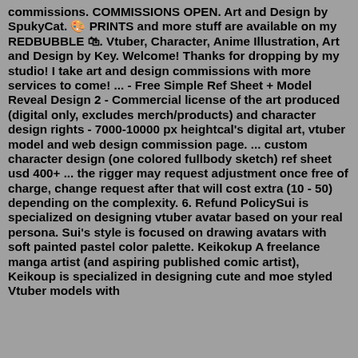commissions. COMMISSIONS OPEN. Art and Design by SpukyCat. 🎨 PRINTS and more stuff are available on my REDBUBBLE 🛍. Vtuber, Character, Anime Illustration, Art and Design by Key. Welcome! Thanks for dropping by my studio! I take art and design commissions with more services to come! ... - Free Simple Ref Sheet + Model Reveal Design 2 - Commercial license of the art produced (digital only, excludes merch/products) and character design rights - 7000-10000 px heightcal's digital art, vtuber model and web design commission page. ... custom character design (one colored fullbody sketch) ref sheet usd 400+ ... the rigger may request adjustment once free of charge, change request after that will cost extra (10 - 50) depending on the complexity. 6. Refund PolicySui is specialized on designing vtuber avatar based on your real persona. Sui's style is focused on drawing avatars with soft painted pastel color palette. Keikokup A freelance manga artist (and aspiring published comic artist), Keikoup is specialized in designing cute and moe styled Vtuber models with